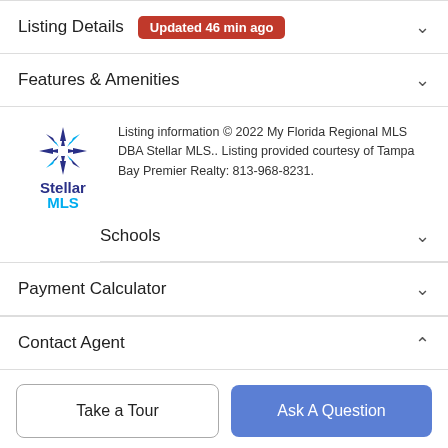Listing Details Updated 46 min ago
Features & Amenities
Listing information © 2022 My Florida Regional MLS DBA Stellar MLS.. Listing provided courtesy of Tampa Bay Premier Realty: 813-968-8231.
Schools
Payment Calculator
Contact Agent
Take a Tour
Ask A Question